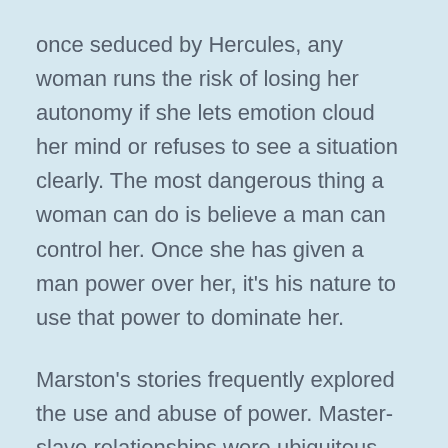once seduced by Hercules, any woman runs the risk of losing her autonomy if she lets emotion cloud her mind or refuses to see a situation clearly. The most dangerous thing a woman can do is believe a man can control her. Once she has given a man power over her, it's his nature to use that power to dominate her.
Marston's stories frequently explored the use and abuse of power. Master-slave relationships were ubiquitous. Marston believed men were unfit masters due to their inability to maintain "love leadership."
Men, he said, are fundamentally driven